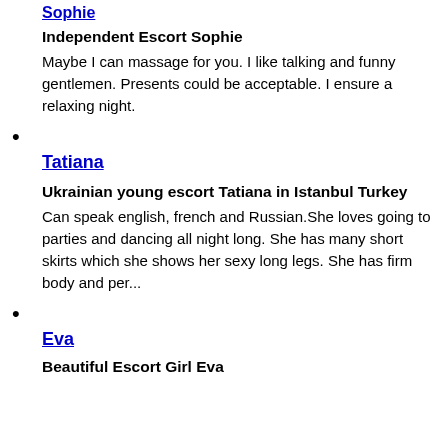Sophie
Independent Escort Sophie
Maybe I can massage for you. I like talking and funny gentlemen. Presents could be acceptable. I ensure a relaxing night.
Tatiana
Ukrainian young escort Tatiana in Istanbul Turkey
Can speak english, french and Russian.She loves going to parties and dancing all night long. She has many short skirts which she shows her sexy long legs. She has firm body and per...
Eva
Beautiful Escort Girl Eva